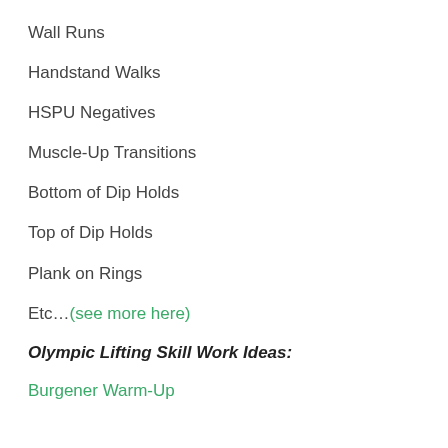Wall Runs
Handstand Walks
HSPU Negatives
Muscle-Up Transitions
Bottom of Dip Holds
Top of Dip Holds
Plank on Rings
Etc…(see more here)
Olympic Lifting Skill Work Ideas:
Burgener Warm-Up